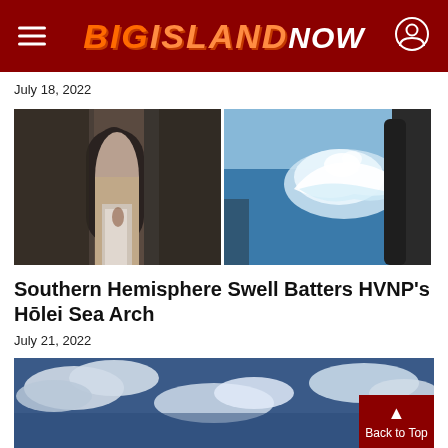BIG ISLAND NOW
July 18, 2022
[Figure (photo): Two side-by-side photos: left shows a rocky sea arch with water rushing through, right shows large ocean waves crashing against dark lava rocks]
Southern Hemisphere Swell Batters HVNP's Hōlei Sea Arch
July 21, 2022
[Figure (photo): Partial photo showing cloudy blue sky, article image cut off at bottom of page]
Back to Top